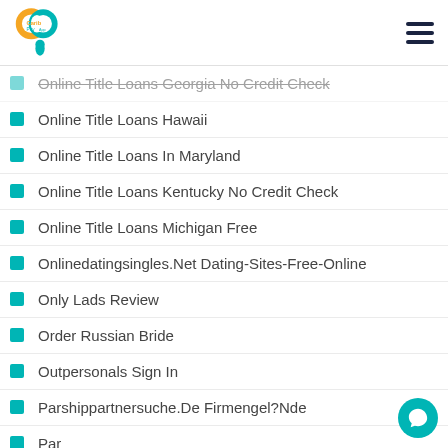Carib Pay App logo and hamburger menu
Online Title Loans Georgia No Credit Check
Online Title Loans Hawaii
Online Title Loans In Maryland
Online Title Loans Kentucky No Credit Check
Online Title Loans Michigan Free
Onlinedatingsingles.Net Dating-Sites-Free-Online
Only Lads Review
Order Russian Bride
Outpersonals Sign In
Parshippartnersuche.De Firmengel?Nde
Par...